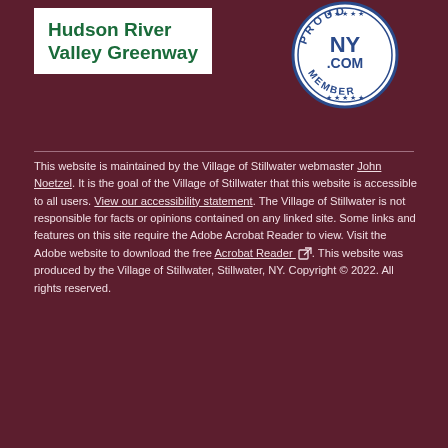[Figure (logo): Hudson River Valley Greenway logo - white box with green bold text]
[Figure (logo): NY.com Proud Member circular badge/seal]
This website is maintained by the Village of Stillwater webmaster John Noetzel. It is the goal of the Village of Stillwater that this website is accessible to all users. View our accessibility statement. The Village of Stillwater is not responsible for facts or opinions contained on any linked site. Some links and features on this site require the Adobe Acrobat Reader to view. Visit the Adobe website to download the free Acrobat Reader. This website was produced by the Village of Stillwater, Stillwater, NY. Copyright © 2022. All rights reserved.